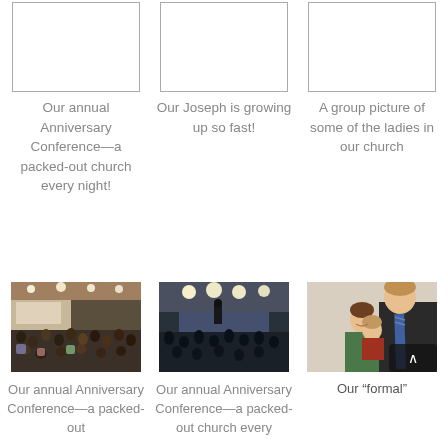[Figure (photo): Placeholder white image box, top-left (anniversary conference)]
Our annual Anniversary Conference—a packed-out church every night!
[Figure (photo): Placeholder white image box, top-center (Joseph growing up)]
Our Joseph is growing up so fast!
[Figure (photo): Placeholder white image box, top-right (group picture of ladies)]
A group picture of some of the ladies in our church
[Figure (photo): Photo of a packed church interior, audience seated, bright lights, bottom-left]
Our annual Anniversary Conference—a packed-out
[Figure (photo): Photo of church conference from back, speaker at podium, lights, bottom-center]
Our annual Anniversary Conference—a packed-out church every
[Figure (photo): Photo of man in suit holding young child, woman beside him smiling, bottom-right]
Our "formal"